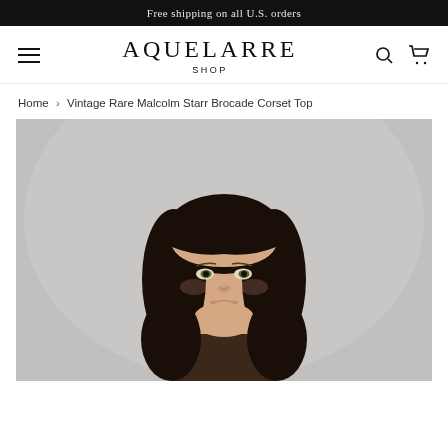Free shipping on all U.S. orders
AQUELARRE
SHOP
Home › Vintage Rare Malcolm Starr Brocade Corset Top
[Figure (photo): A young woman with dark shoulder-length hair and bangs, wearing natural makeup, photographed against a light grey background. The photo shows her from roughly chest-up, looking slightly off-camera.]